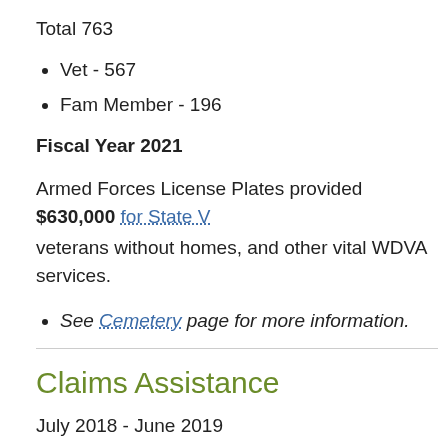Total 763
Vet - 567
Fam Member - 196
Fiscal Year 2021
Armed Forces License Plates provided $630,000 for State V… veterans without homes, and other vital WDVA services.
See Cemetery page for more information.
Claims Assistance
July 2018 - June 2019
Olympia Call Center: